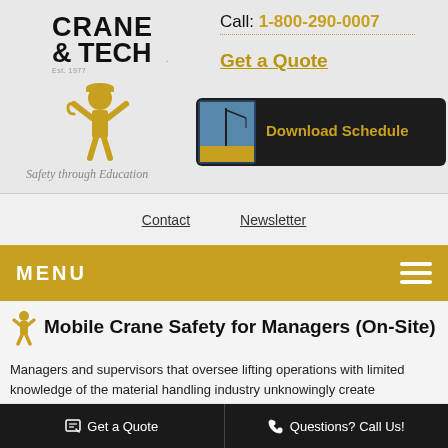[Figure (logo): Crane Tech logo with mascot figure holding crane hook, tagline Safety through Education]
Call: 1-800-290-0007
Get a Quote
[Figure (illustration): Download Schedule button with booklet thumbnail image on dark background]
Contact   Newsletter
MENU
Mobile Crane Safety for Managers (On-Site)
Managers and supervisors that oversee lifting operations with limited knowledge of the material handling industry unknowingly create opportunities for exposure. They may rely
Get a Quote   Questions? Call Us!